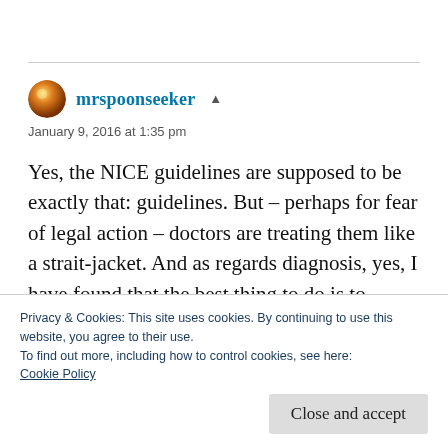[Figure (illustration): Orange glowing avatar icon for user mrspoonseeker]
mrspoonseeker ▲
January 9, 2016 at 1:35 pm
Yes, the NICE guidelines are supposed to be exactly that: guidelines. But – perhaps for fear of legal action – doctors are treating them like a strait-jacket. And as regards diagnosis, yes, I have found that the best thing to do is to
Privacy & Cookies: This site uses cookies. By continuing to use this website, you agree to their use.
To find out more, including how to control cookies, see here:
Cookie Policy
Close and accept